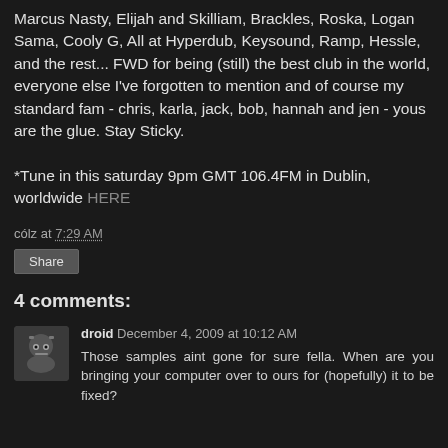Marcus Nasty, Elijah and Skilliam, Brackles, Roska, Logan Sama, Cooly G, All at Hyperdub, Keysound, Ramp, Hessle, and the rest... FWD for being (still) the best club in the world, everyone else I've forgotten to mention and of course my standard fam - chris, karla, jack, bob, hannah and jen - yous are the glue. Stay Sticky.
*Tune in this saturday 9pm GMT 106.4FM in Dublin, worldwide HERE
cólz at 7:29 AM
Share
4 comments:
droid December 4, 2009 at 10:12 AM
Those samples aint gone for sure fella. When are you bringing your computer over to ours for (hopefully) it to be fixed?